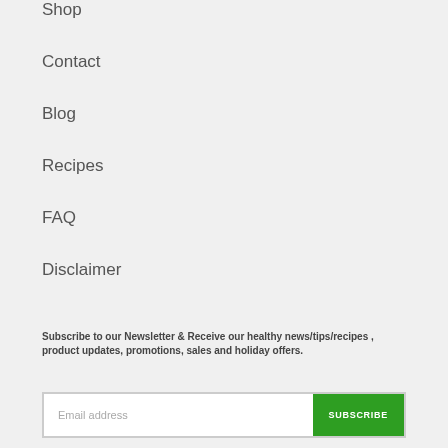Shop
Contact
Blog
Recipes
FAQ
Disclaimer
Subscribe to our Newsletter & Receive our healthy news/tips/recipes , product updates, promotions, sales and holiday offers.
Email address SUBSCRIBE